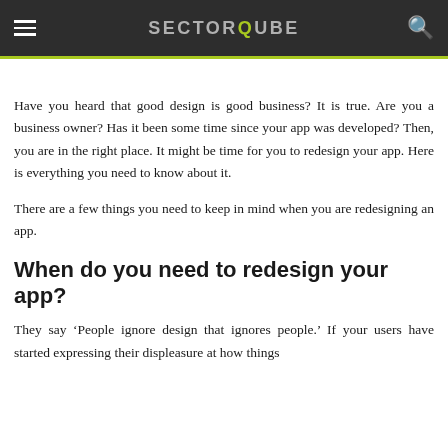SECTORQUBE
Have you heard that good design is good business? It is true. Are you a business owner? Has it been some time since your app was developed? Then, you are in the right place. It might be time for you to redesign your app. Here is everything you need to know about it.
There are a few things you need to keep in mind when you are redesigning an app.
When do you need to redesign your app?
They say ‘People ignore design that ignores people.’ If your users have started expressing their displeasure at how things